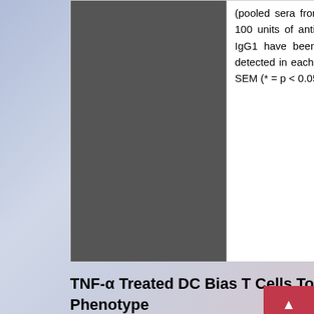[Figure (photo): A dark gray/charcoal rectangular image placeholder on the left side of a two-column layout, representing a figure or chart image.]
(pooled sera from arthritic mice). This standard represented 100 units of antigen specific antibody. Levels of IgG2a and IgG1 have been normalised against amounts of total IgG detected in each sample. Values are the mean (n=8/group) ± SEM (* = p < 0.05 by Mann Whitney test).
TNF-α Treated DC Bias T Cells Towards an Anti-Inflammatory Phenotype
In order to investigate the antigen presenting function of each of the DC types in vivo,